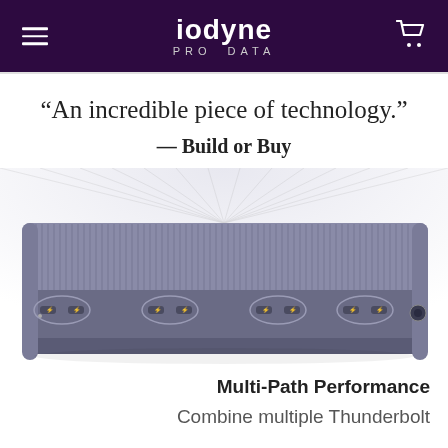iodyne PRO DATA
“An incredible piece of technology.”
— Build or Buy
[Figure (photo): Photo of the Iodyne Pro Data storage device, showing its front face with four pairs of Thunderbolt USB-C ports and a power/button port on the right, with a dark metallic ridged top surface.]
Multi-Path Performance
Combine multiple Thunderbolt